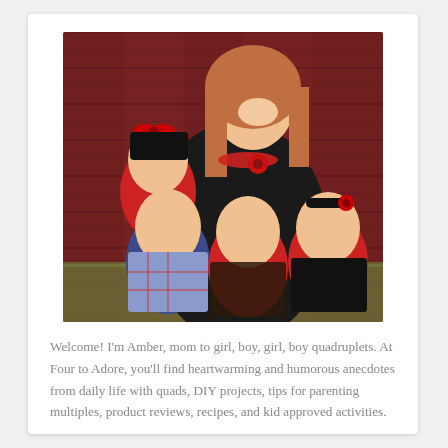[Figure (photo): A smiling young woman with long brown hair, wearing a black top and red beaded necklace with a red flower, holding four babies dressed in red, black, and plaid outfits, posed in front of a red wooden barn wall.]
Welcome! I'm Amber, mom to girl, boy, girl, boy quadruplets. At Four to Adore, you'll find heartwarming and humorous anecdotes from daily life with quads, DIY projects, tips for parenting multiples, product reviews, recipes, and kid approved activities.